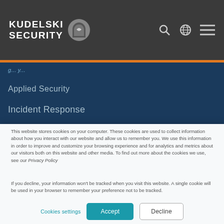KUDELSKI SECURITY
g... y...
Applied Security
Incident Response
This website stores cookies on your computer. These cookies are used to collect information about how you interact with our website and allow us to remember you. We use this information in order to improve and customize your browsing experience and for analytics and metrics about our visitors both on this website and other media. To find out more about the cookies we use, see our Privacy Policy
If you decline, your information won't be tracked when you visit this website. A single cookie will be used in your browser to remember your preference not to be tracked.
Cookies settings  Accept  Decline